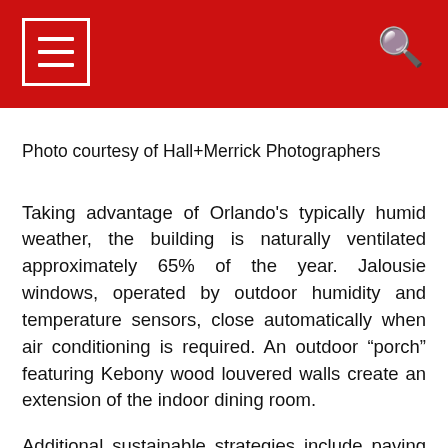Photo courtesy of Hall+Merrick Photographers
Taking advantage of Orlando's typically humid weather, the building is naturally ventilated approximately 65% of the year. Jalousie windows, operated by outdoor humidity and temperature sensors, close automatically when air conditioning is required. An outdoor “porch” featuring Kebony wood louvered walls create an extension of the indoor dining room.
Additional sustainable strategies include paving materials that reduce the urban heat island effect, surfaces that redirect rainwater, 1,766 square feet of living green wall that increases biodiversity, new LED lighting and